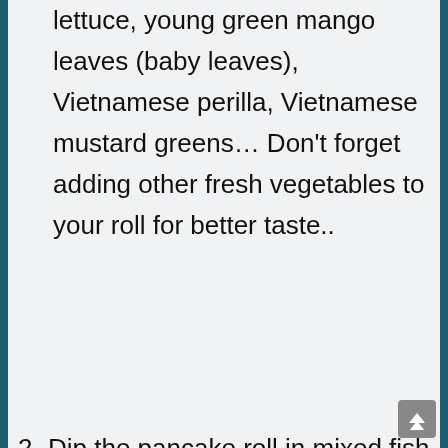lettuce, young green mango leaves (baby leaves), Vietnamese perilla, Vietnamese mustard greens… Don't forget adding other fresh vegetables to your roll for better taste..
2. Dip the pancake roll in mixed fish sauce with radish and carrot pickles.
Watch the video how to make Vietnamese pancake, Banh Xeo.
[Figure (screenshot): YouTube video thumbnail showing 'How To Make Vietnamese P...' with channel icon, three-dot menu, and a food video frame with a red play button]